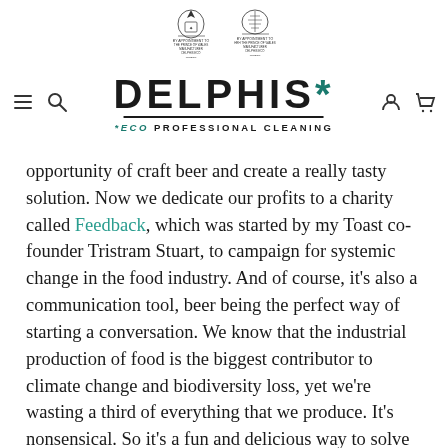[Figure (logo): Delphis Eco professional cleaning logo with two royal crest emblems above the brand name, a decorative line, and '*eco PROFESSIONAL CLEANING' tagline. Navigation bar with hamburger menu, search, user and cart icons.]
opportunity of craft beer and create a really tasty solution. Now we dedicate our profits to a charity called Feedback, which was started by my Toast co-founder Tristram Stuart, to campaign for systemic change in the food industry. And of course, it's also a communication tool, beer being the perfect way of starting a conversation. We know that the industrial production of food is the biggest contributor to climate change and biodiversity loss, yet we're wasting a third of everything that we produce. It's nonsensical. So it's a fun and delicious way to solve the problem, where we're not asking people to make concessions, but to value all of those natural resources and the human resources that we're expending